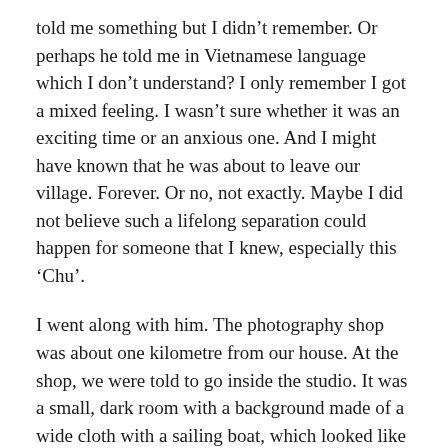told me something but I didn't remember. Or perhaps he told me in Vietnamese language which I don't understand? I only remember I got a mixed feeling. I wasn't sure whether it was an exciting time or an anxious one. And I might have known that he was about to leave our village. Forever. Or no, not exactly. Maybe I did not believe such a lifelong separation could happen for someone that I knew, especially this ‘Chu’.
I went along with him. The photography shop was about one kilometre from our house. At the shop, we were told to go inside the studio. It was a small, dark room with a background made of a wide cloth with a sailing boat, which looked like it was about to hit a mountain. I can’t tell whether it is colour or black and white. It must have been a cool artwork for that time. Although it was about ten years after the genocide, the war had not stopped yet. This memory had been buried for quite a while until one